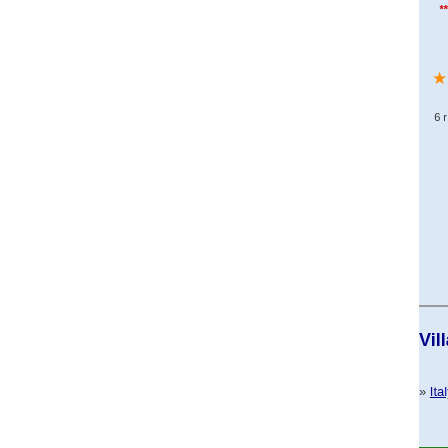[Figure (other): Partial view of villa listing card with star rating and review count, light blue background]
Villa la Potenza - 14837: Luxury Amalfi Coast V...
» Italy » Campania » Amalfi Coast » near Amalfi
Save $1,286
Amalfi Coast Villa Rental
Views and Pool
View All Photos
[Figure (other): Partial view of second villa listing card with star rating and review count, light blue background]
Villa Renzo - 19829: Villa on Lake Como with P...
» Italy » Lombardy » Lake Como » in Bellagio